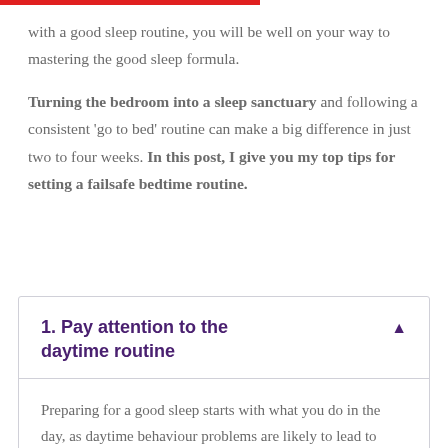with a good sleep routine, you will be well on your way to mastering the good sleep formula.
Turning the bedroom into a sleep sanctuary and following a consistent 'go to bed' routine can make a big difference in just two to four weeks. In this post, I give you my top tips for setting a failsafe bedtime routine.
1. Pay attention to the daytime routine
Preparing for a good sleep starts with what you do in the day, as daytime behaviour problems are likely to lead to night-time shenanigans.